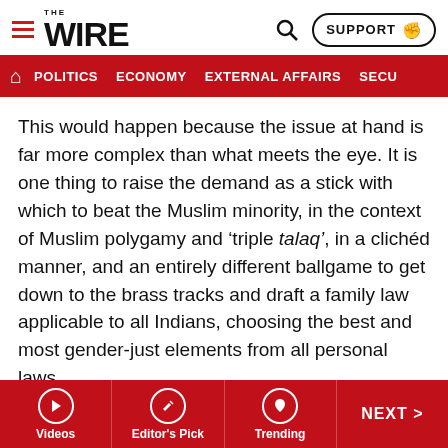THE WIRE
POLITICS  ECONOMY  EXTERNAL AFFAIRS  SECU
This would happen because the issue at hand is far more complex than what meets the eye. It is one thing to raise the demand as a stick with which to beat the Muslim minority, in the context of Muslim polygamy and ‘triple talaq’, in a clichéd manner, and an entirely different ballgame to get down to the brass tracks and draft a family law applicable to all Indians, choosing the best and most gender-just elements from all personal laws.
Pushing the limits
Tested against this grain, how will the Hindu law applicable to the majority fare?
Videos  Editor's Pick  Trending  NEXT >